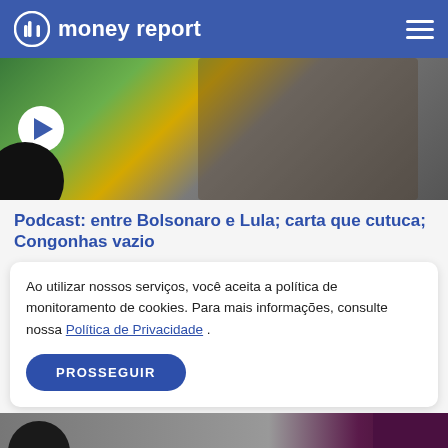money report
[Figure (photo): Photo of a man (likely Bolsonaro) with hand near face, wearing a green jacket with Brazilian flag colors visible]
Podcast: entre Bolsonaro e Lula; carta que cutuca; Congonhas vazio
Ao utilizar nossos serviços, você aceita a política de monitoramento de cookies. Para mais informações, consulte nossa Política de Privacidade .
PROSSEGUIR
[Figure (photo): Partially visible podcast thumbnail image, dark colored]
Podcast: BolsoGarcia; bancada acima da presidência; polarização dominante